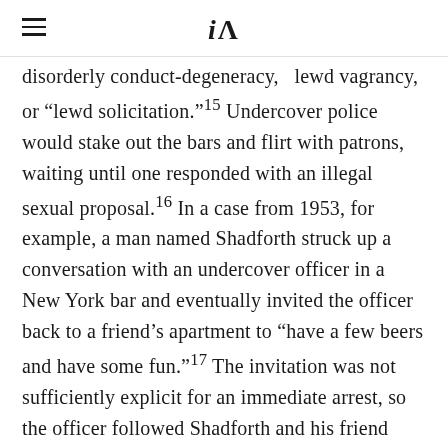iA
disorderly conduct-degeneracy,  lewd vagrancy, or “lewd solicitation.”15 Undercover police would stake out the bars and flirt with patrons, waiting until one responded with an illegal sexual proposal.16 In a case from 1953, for example, a man named Shadforth struck up a conversation with an undercover officer in a New York bar and eventually invited the officer back to a friend’s apartment to “have a few beers and have some fun.”17 The invitation was not sufficiently explicit for an immediate arrest, so the officer followed Shadforth and his friend home, waiting until Shadforth had undressed before arresting him for